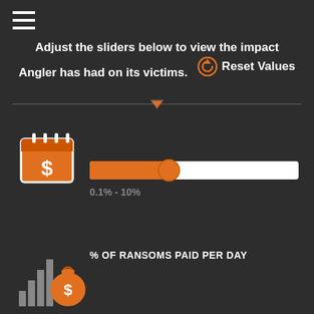[Figure (infographic): Hamburger menu icon (three horizontal white lines) in top left corner]
Adjust the sliders below to view the impact Angler has had on its victims.
Reset Values
[Figure (infographic): Calendar icon with dollar sign, orange background, used for % of ransoms paid per day slider]
% OF RANSOMS PAID PER DAY
[Figure (infographic): Orange slider bar with circular thumb at approximately 38% position]
0.1% - 10%
[Figure (infographic): Money bag icon with dollar sign and bar chart, orange, used for average ransom slider]
AVERAGE RANSOM
[Figure (infographic): Orange slider bar with circular thumb at approximately 42% position]